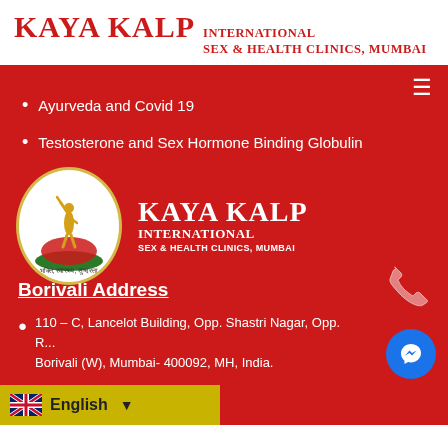KAYA KALP INTERNATIONAL SEX & HEALTH CLINICS, MUMBAI
Ayurveda and Covid 19
Testosterone and Sex Hormone Binding Globulin
[Figure (logo): Kaya Kalp International Sex & Health Clinics Mumbai logo with oval emblem and figure statue]
Borivali Address
110 – C, Lancelot Building, Opp. Shastri Nagar, Opp. R... Borivali (W), Mumbai- 400092, MH, India.
English